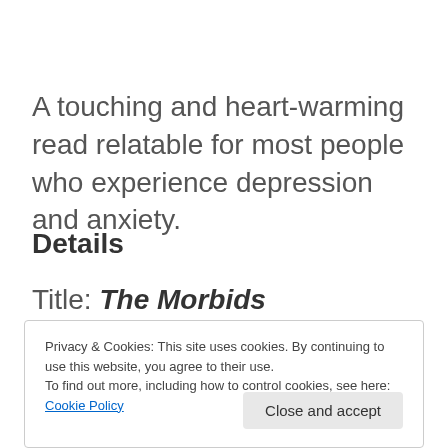A touching and heart-warming read relatable for most people who experience depression and anxiety.
Details
Title: The Morbids
Privacy & Cookies: This site uses cookies. By continuing to use this website, you agree to their use.
To find out more, including how to control cookies, see here:
Cookie Policy
Close and accept
Format: Paperback 308 pages